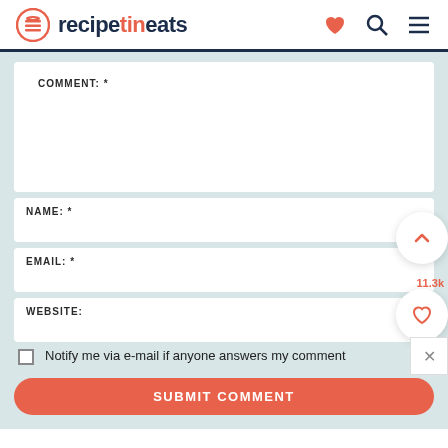[Figure (logo): RecipeTin Eats logo with heart, search, and menu icons in header]
COMMENT: *
NAME: *
EMAIL: *
WEBSITE:
Notify me via e-mail if anyone answers my comment
SUBMIT COMMENT
11.3k
93 COMMENTS